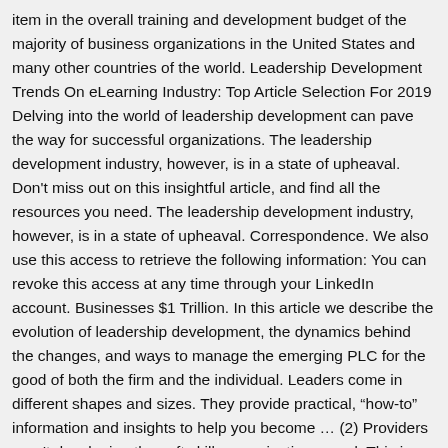item in the overall training and development budget of the majority of business organizations in the United States and many other countries of the world. Leadership Development Trends On eLearning Industry: Top Article Selection For 2019 Delving into the world of leadership development can pave the way for successful organizations. The leadership development industry, however, is in a state of upheaval. Don't miss out on this insightful article, and find all the resources you need. The leadership development industry, however, is in a state of upheaval. Correspondence. We also use this access to retrieve the following information: You can revoke this access at any time through your LinkedIn account. Businesses $1 Trillion. In this article we describe the evolution of leadership development, the dynamics behind the changes, and ways to manage the emerging PLC for the good of both the firm and the individual. Leaders come in different shapes and sizes. They provide practical, “how-to” information and insights to help you become … (2) Providers aren't developing the soft skills organizations need. This is because managers have invested heavily in their employees and have taken the time to help shape their